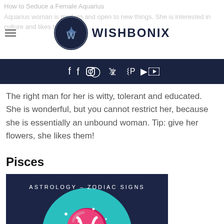How to Seduce a Female Aquarius
[Figure (logo): Wishbonix logo: circular emblem with W symbol and text WISHBONIX]
Aquarius woman is modern and open to new things. She is interested in culture and likes to
f  Instagram  Twitter  Pinterest  YouTube
The right man for her is witty, tolerant and educated. She is wonderful, but you cannot restrict her, because she is essentially an unbound woman. Tip: give her flowers, she likes them!
Pisces
[Figure (illustration): Dark navy blue square image with teal circle containing Pisces zodiac symbol (two fish connected) with constellation stars, text ASTROLOGY - ZODIAC SIGNS at top and PISCES at bottom in white]